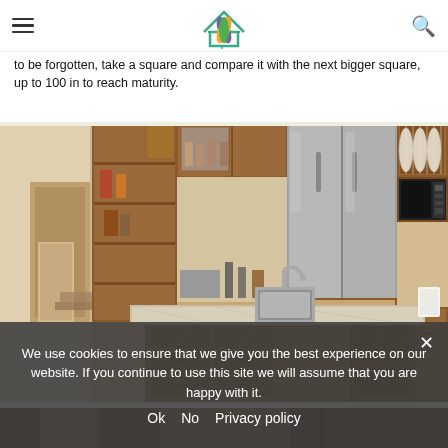Navigation bar with hamburger menu, site logo, and search icon
to be forgotten, take a square and compare it with the next bigger square, up to 100 in to reach maturity.
[Figure (photo): Interior kitchen photo showing a large island with granite countertop and sink, stainless steel refrigerator, wood cabinets, and hardwood-style flooring]
We use cookies to ensure that we give you the best experience on our website. If you continue to use this site we will assume that you are happy with it.
Ok   No   Privacy policy
[Figure (photo): Partial bottom strip showing another interior room photo]